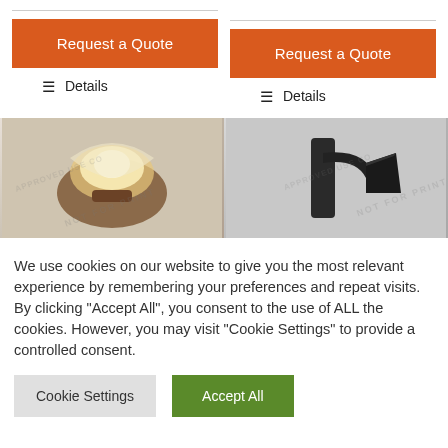[Figure (screenshot): Orange 'Request a Quote' button on left column with divider line above, followed by Details link]
[Figure (screenshot): Orange 'Request a Quote' button on right column with divider line above, followed by Details link]
[Figure (photo): Warm-glowing wall sconce light fixture with glass shade on dark background, watermarked]
[Figure (photo): Dark metal modern wall light fixture on grey background, watermarked]
We use cookies on our website to give you the most relevant experience by remembering your preferences and repeat visits. By clicking "Accept All", you consent to the use of ALL the cookies. However, you may visit "Cookie Settings" to provide a controlled consent.